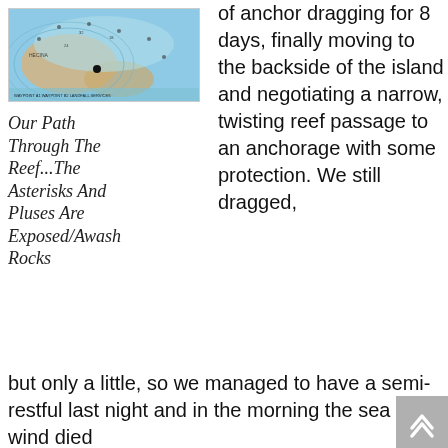[Figure (map): Nautical chart/map showing reef and water areas in shades of blue and tan, with navigation markings and labels.]
Our Path Through The Reef...The Asterisks And Pluses Are Exposed/Awash Rocks
of anchor dragging for 8 days, finally moving to the backside of the island and negotiating a narrow, twisting reef passage to an anchorage with some protection. We still dragged, but only a little, so we managed to have a semi-restful last night and in the morning the sea and wind died